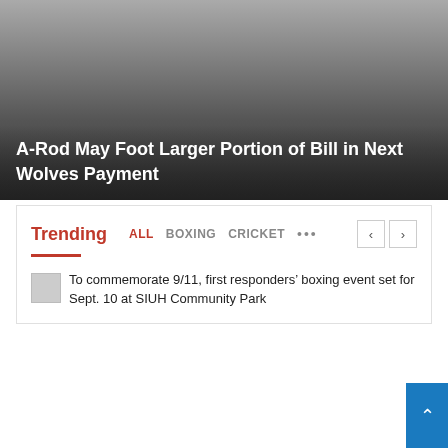[Figure (photo): Dark gradient hero image background for news article]
A-Rod May Foot Larger Portion of Bill in Next Wolves Payment
Trending
All  BOXING  CRICKET  ...
To commemorate 9/11, first responders’ boxing event set for Sept. 10 at SIUH Community Park